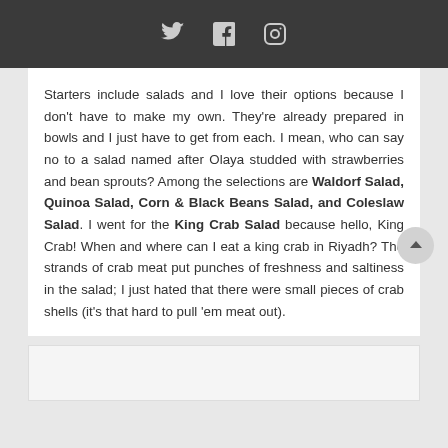[Social media icons: Twitter, Facebook, Instagram]
Starters include salads and I love their options because I don't have to make my own. They're already prepared in bowls and I just have to get from each. I mean, who can say no to a salad named after Olaya studded with strawberries and bean sprouts? Among the selections are Waldorf Salad, Quinoa Salad, Corn & Black Beans Salad, and Coleslaw Salad. I went for the King Crab Salad because hello, King Crab! When and where can I eat a king crab in Riyadh? The strands of crab meat put punches of freshness and saltiness in the salad; I just hated that there were small pieces of crab shells (it's that hard to pull 'em meat out).
[Figure (photo): Partially visible image at bottom of page]